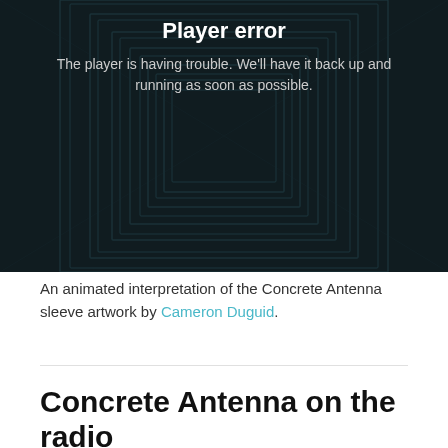[Figure (screenshot): A dark-themed media player showing 'Player error' message with text: 'The player is having trouble. We'll have it back up and running as soon as possible.' Background shows an animated geometric/optical illusion pattern in dark teal and black.]
An animated interpretation of the Concrete Antenna sleeve artwork by Cameron Duguid.
Concrete Antenna on the radio
by Tommy on 11/26/2015 in Press
We've been lucky enough to receive a lot of radio play so far with tracks played by: Jarvis Cocker's Sunday Session (BBC 6 Music), Cerys Matthews (6...